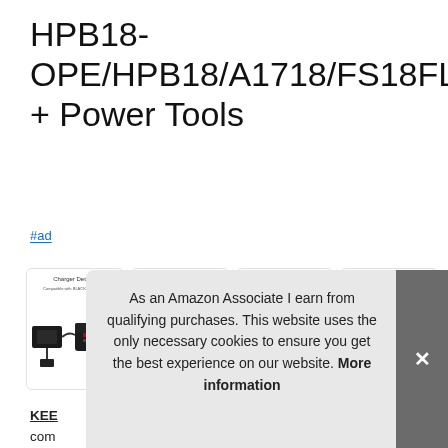HPB18-OPE/HPB18/A1718/FS18FL/FSB18/Firestorm + Power Tools
#ad
[Figure (photo): Four product images showing battery charger and compatible batteries for Black and Decker 18V power tools. First image: charger details with charger unit and battery. Second image: compatible with Black+Decker 9.6V-18V Slide-in Slide Battery charger unit. Third image: product details 3700mAh 18V battery. Fourth image: compatible with Black and Decker 18V battery with multiple compatible tool images.]
KEE…
com… retu… of p… charged or discharged as needed (regardless of capacity/
As an Amazon Associate I earn from qualifying purchases. This website uses the only necessary cookies to ensure you get the best experience on our website. More information